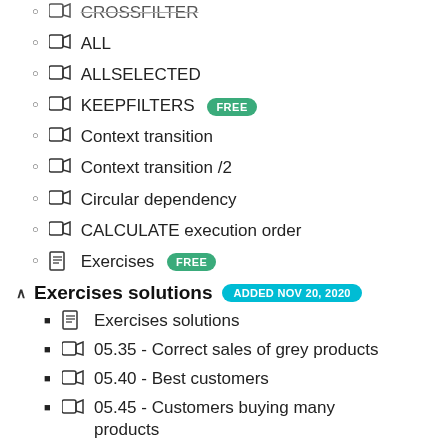CROSSFILTER
ALL
ALLSELECTED
KEEPFILTERS FREE
Context transition
Context transition /2
Circular dependency
CALCULATE execution order
Exercises FREE
Exercises solutions ADDED NOV 20, 2020
Exercises solutions
05.35 - Correct sales of grey products
05.40 - Best customers
05.45 - Customers buying many products
05.50 - Large sales
05.30 - Percentage of customers